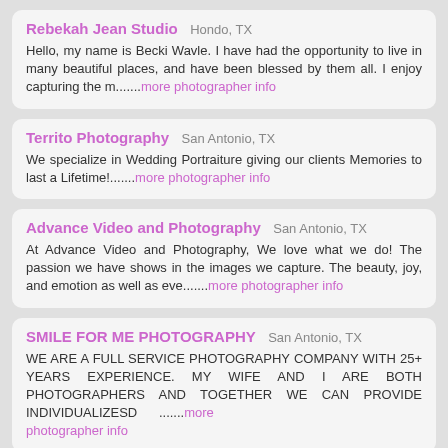Rebekah Jean Studio  Hondo, TX
Hello, my name is Becki Wavle. I have had the opportunity to live in many beautiful places, and have been blessed by them all. I enjoy capturing the m.......more photographer info
Territo Photography  San Antonio, TX
We specialize in Wedding Portraiture giving our clients Memories to last a Lifetime!.......more photographer info
Advance Video and Photography  San Antonio, TX
At Advance Video and Photography, We love what we do! The passion we have shows in the images we capture. The beauty, joy, and emotion as well as eve.......more photographer info
SMILE FOR ME PHOTOGRAPHY  San Antonio, TX
WE ARE A FULL SERVICE PHOTOGRAPHY COMPANY WITH 25+ YEARS EXPERIENCE. MY WIFE AND I ARE BOTH PHOTOGRAPHERS AND TOGETHER WE CAN PROVIDE INDIVIDUALIZESD .......more photographer info